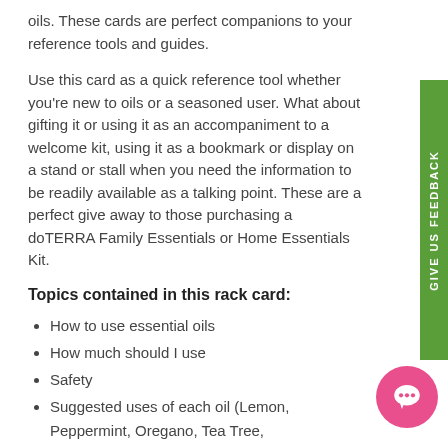oils. These cards are perfect companions to your reference tools and guides.
Use this card as a quick reference tool whether you're new to oils or a seasoned user. What about gifting it or using it as an accompaniment to a welcome kit, using it as a bookmark or display on a stand or stall when you need the information to be readily available as a talking point. These are a perfect give away to those purchasing a doTERRA Family Essentials or Home Essentials Kit.
Topics contained in this rack card:
How to use essential oils
How much should I use
Safety
Suggested uses of each oil (Lemon, Peppermint, Oregano, Tea Tree, Frankincense, Lavender, Respiratory Blend, Protective Blend, Digestive Blend & Soothing Blend)
2 sided on printed card stock